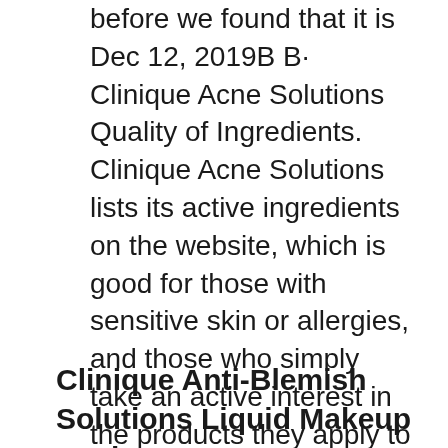before we found that it is Dec 12, 2019B B· Clinique Acne Solutions Quality of Ingredients. Clinique Acne Solutions lists its active ingredients on the website, which is good for those with sensitive skin or allergies, and those who simply take an active interest in the products they apply to their skin. There is an abundance of soothing plant extracts to calm skin and reduce
Clinique Anti-Blemish Solutions Liquid Makeup Review